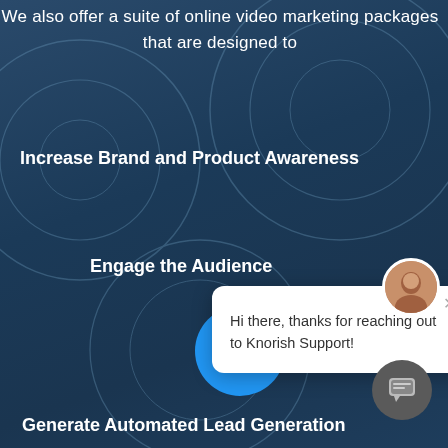We also offer a suite of online video marketing packages that are designed to
Increase Brand and Product Awareness
Engage the Audience
[Figure (screenshot): Chat support popup with avatar showing a woman, close button X, and text: Hi there, thanks for reaching out to Knorish Support!]
Generate Automated Lead Generation